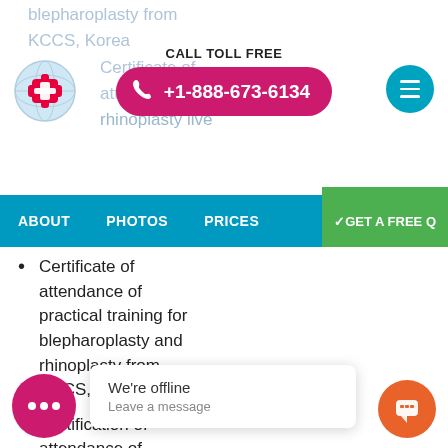CALL TOLL FREE +1-888-673-6134
[Figure (logo): Medical/health logo with red plus sign on blue globe background]
[Figure (other): Teal circular hamburger menu button]
ABOUT  PHOTOS  PRICES  GET A FREE Q
Certificate of attendance of practical training for blepharoplasty and rhinoplasty from KCCS, Korea
Certification of attendance of international facial rhinoplasty work from KCCS, Korea
Certification of
We're offline
Leave a message